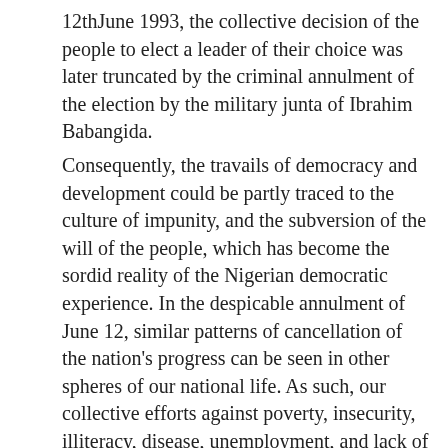12thJune 1993, the collective decision of the people to elect a leader of their choice was later truncated by the criminal annulment of the election by the military junta of Ibrahim Babangida.
Consequently, the travails of democracy and development could be partly traced to the culture of impunity, and the subversion of the will of the people, which has become the sordid reality of the Nigerian democratic experience. In the despicable annulment of June 12, similar patterns of cancellation of the nation's progress can be seen in other spheres of our national life. As such, our collective efforts against poverty, insecurity, illiteracy, disease, unemployment, and lack of stable electricity supply, among others appear to have been annulled by a rapacious ruling elite.
On the 27th anniversary of what has been termed the most credible, freest and fairest election in Nigeria's history, the government and the people of this country must bring to life the ideals which the June 12 stands for. Chief MKO Abiola's